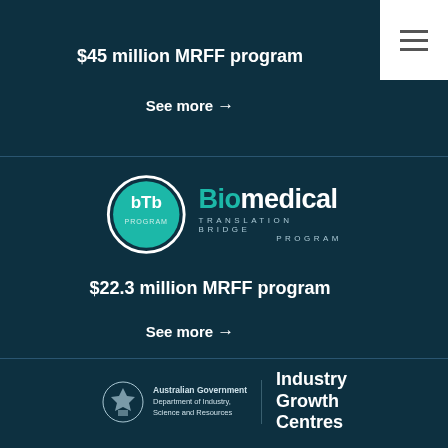$45 million MRFF program
See more →
[Figure (logo): bTb Biomedical Translation Bridge Program circular logo with teal circle and text]
$22.3 million MRFF program
See more →
[Figure (logo): Australian Government Department of Industry, Science and Resources / Industry Growth Centres footer logo]